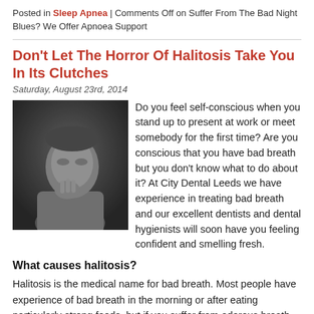Posted in Sleep Apnea | Comments Off on Suffer From The Bad Night Blues? We Offer Apnoea Support
Don't Let The Horror Of Halitosis Take You In Its Clutches
Saturday, August 23rd, 2014
[Figure (photo): Black and white photo of a man resting his chin on his hand, looking thoughtful or concerned.]
Do you feel self-conscious when you stand up to present at work or meet somebody for the first time? Are you conscious that you have bad breath but you don't know what to do about it? At City Dental Leeds we have experience in treating bad breath and our excellent dentists and dental hygienists will soon have you feeling confident and smelling fresh.
What causes halitosis?
Halitosis is the medical name for bad breath. Most people have experience of bad breath in the morning or after eating particularly strong foods, but if you suffer from odorous breath on a regular basis, there may be an underlying cause. In most cases, bad breath is linked to bacteria collecting in the mouth, which results from poor oral hygiene. If you don't brush your